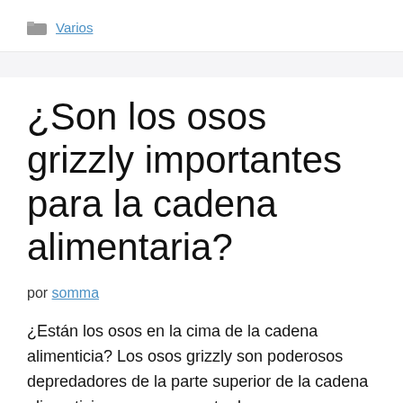Varios
¿Son los osos grizzly importantes para la cadena alimentaria?
por somma
¿Están los osos en la cima de la cadena alimenticia? Los osos grizzly son poderosos depredadores de la parte superior de la cadena alimenticia , pero gran parte de su